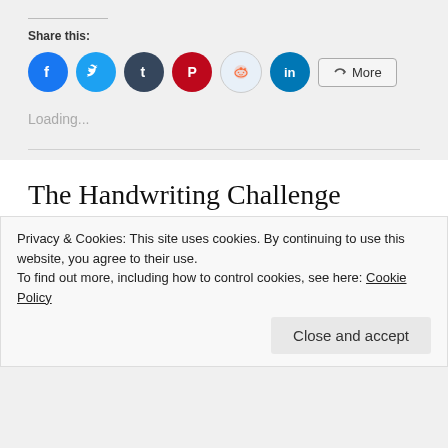Share this:
[Figure (infographic): Row of social media share icons: Facebook (blue), Twitter (light blue), Tumblr (dark navy), Pinterest (red), Reddit (light blue/gray), LinkedIn (dark blue), and a More button]
Loading...
The Handwriting Challenge
MAY 22, 2017 / 28 COMMENTS
Privacy & Cookies: This site uses cookies. By continuing to use this website, you agree to their use.
To find out more, including how to control cookies, see here: Cookie Policy
Close and accept
which I was tagged by Megan from Invisible World.